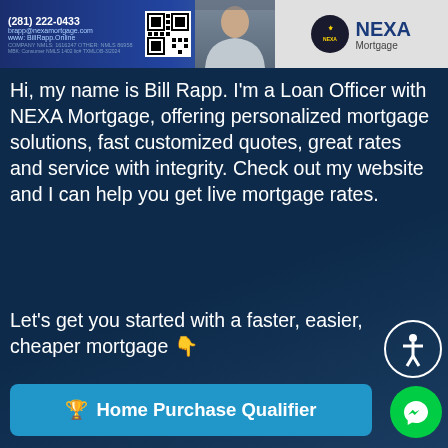[Figure (infographic): Banner with phone number (281) 222-0433, email/website info, QR code, person photo, NEXA Mortgage logo on gray background]
Hi, my name is Bill Rapp. I'm a Loan Officer with NEXA Mortgage, offering personalized mortgage solutions, fast customized quotes, great rates and service with integrity. Check out my website and I can help you get live mortgage rates.
Let's get you started with a faster, easier, cheaper mortgage 👇
[Figure (infographic): Blue button: 🏆 Home Purchase Qualifier]
[Figure (infographic): Green button: 👍 Apply Now]
[Figure (infographic): Gray button: ⬇ Free Guide to Home Buying]
[Figure (infographic): Gold/brown button: 👍 Rate Checker]
[Figure (infographic): Accessibility icon button (circle with person)]
[Figure (infographic): Green Facebook Messenger chat button]